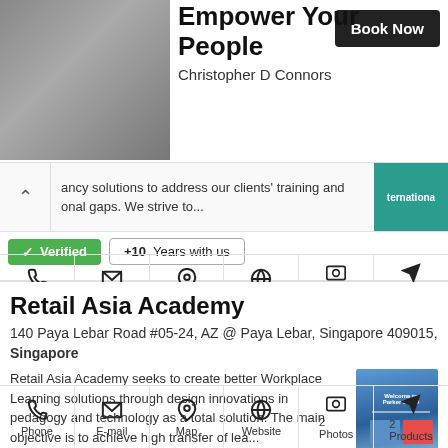Empower Your People
Christopher D Connors
ancy solutions to address our clients' training and onal gaps. We strive to...
✔ Verified   +10  Years with us
[Figure (screenshot): Book Now button for Empower Your People by Christopher D Connors]
Phone   E-mail   Map   Website   Photos 3   Products 1
Retail Asia Academy
140 Paya Lebar Road #05-24, AZ @ Paya Lebar, Singapore 409015, Singapore
Retail Asia Academy seeks to create better Workplace Learning solutions through design innovations in pedagogy and technology as a total solution. The main objective is to achieve high transfer of lea...
✔ Verified   +5  Years with us
Phone   E-mail   Map   Website   Photos 2   Products 2